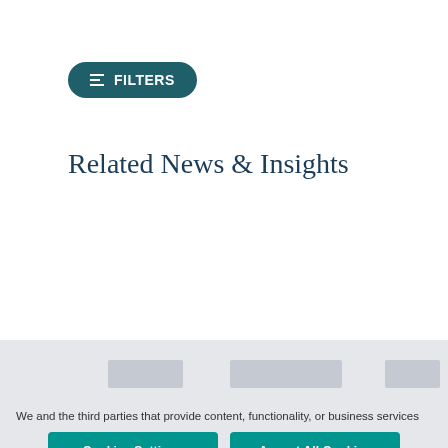FILTERS
Related News & Insights
[Figure (other): Gray background section with three light gray placeholder bars representing loading news card images]
We and the third parties that provide content, functionality, or business services on our website may use cookies to collect information about your browsing activities in order to provide you with more relevant content and promotional materials, on and off the website, and help us understand your interests and improve the website. Privacy Policy
Cookies Settings
Accept All Cookies